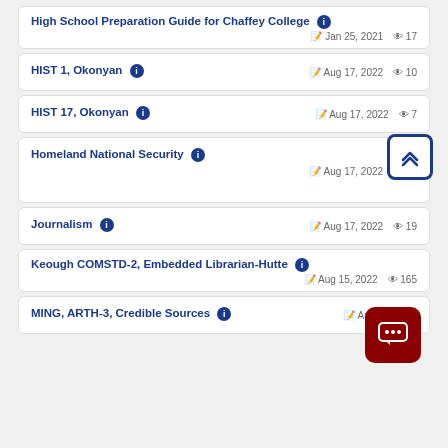High School Preparation Guide for Chaffey College | Jan 25, 2021 | 17 views
HIST 1, Okonyan | Aug 17, 2022 | 10 views
HIST 17, Okonyan | Aug 17, 2022 | 7 views
Homeland National Security | Aug 17, 2022 | 47 views
Journalism | Aug 17, 2022 | 19 views
Keough COMSTD-2, Embedded Librarian-Hutte | Aug 15, 2022 | 165 views
MING, ARTH-3, Credible Sources | Aug 17, 2022